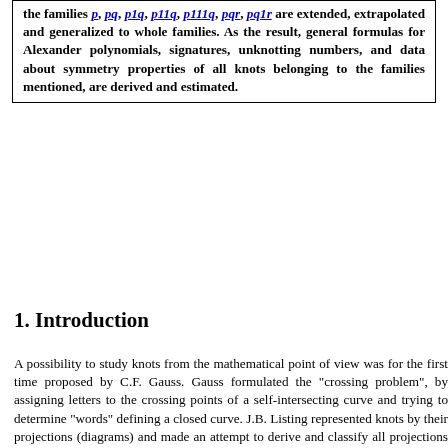the families p, pq, p1q, p11q, p111q, pqr, pq1r are extended, extrapolated and generalized to whole families. As the result, general formulas for Alexander polynomials, signatures, unknotting numbers, and data about symmetry properties of all knots belonging to the families mentioned, are derived and estimated.
1. Introduction
A possibility to study knots from the mathematical point of view was for the first time proposed by C.F. Gauss. Gauss formulated the "crossing problem", by assigning letters to the crossing points of a self-intersecting curve and trying to determine "words" defining a closed curve. J.B. Listing represented knots by their projections (diagrams) and made an attempt to derive and classify all projections having fewer than seven crossings using so-called Complexions-Symbols. Almost complete derivation of alternating knots having fewer than 10 crossings and non-alternating knots with n £ 10 crossings w...